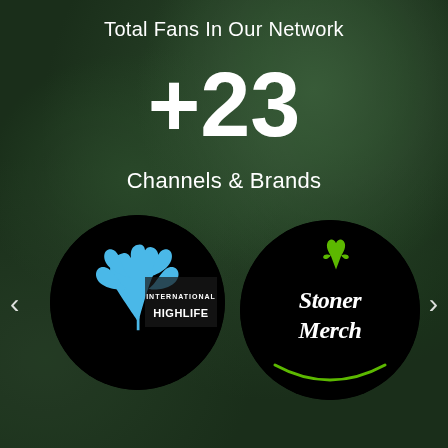Total Fans In Our Network
+23
Channels & Brands
[Figure (logo): International Highlife logo: blue cannabis leaf with text INTERNATIONAL HIGHLIFE on black circular background]
[Figure (logo): Stoner Merch logo: white script text with green cannabis leaf on black circular background]